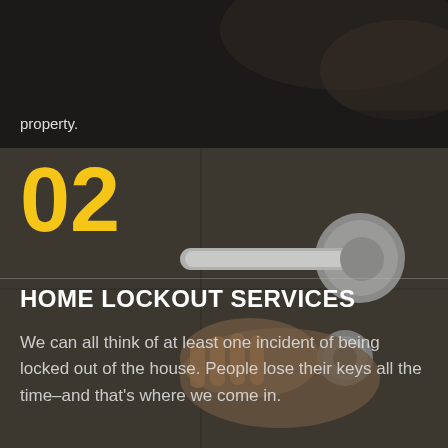property.
[Figure (photo): Dark background top section showing a partial view with text overlay 'property.']
02
[Figure (photo): Close-up photo of a hand inserting a key into a modern door lock handle, dark grey door background]
HOME LOCKOUT SERVICES
We can all think of at least one incident of being locked out of the house. People lose their keys all the time–and that's where we come in.